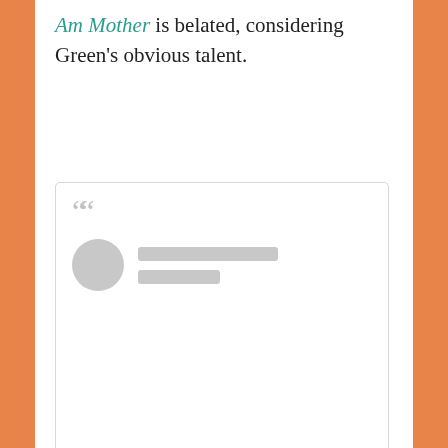Am Mother is belated, considering Green's obvious talent.
[Figure (screenshot): A social media or review quote card with large quotation marks and a placeholder avatar with gray loading bars, representing a blurred/loading testimonial widget.]
Privacy & Cookies: This site uses cookies. By continuing to use this website, you agree to their use.
To find out more, including how to control cookies, see here:
Cookie Policy
Close and accept